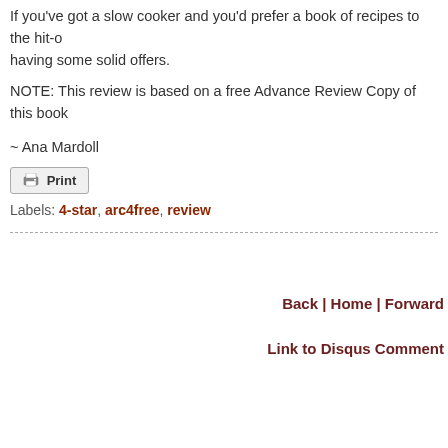If you've got a slow cooker and you'd prefer a book of recipes to the hit-o... having some solid offers.
NOTE: This review is based on a free Advance Review Copy of this book...
~ Ana Mardoll
Print
Labels: 4-star, arc4free, review
Back | Home | Forward
Link to Disqus Comment